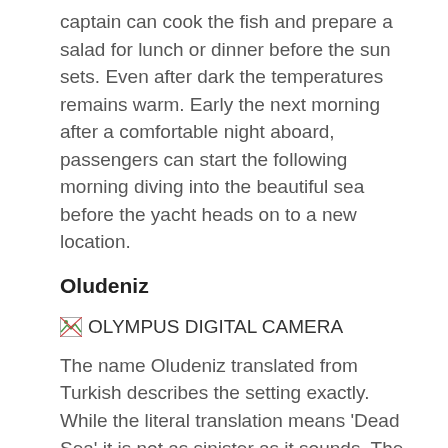captain can cook the fish and prepare a salad for lunch or dinner before the sun sets. Even after dark the temperatures remains warm. Early the next morning after a comfortable night aboard, passengers can start the following morning diving into the beautiful sea before the yacht heads on to a new location.
Oludeniz
[Figure (photo): OLYMPUS DIGITAL CAMERA — image placeholder with broken image icon and alt text]
The name Oludeniz translated from Turkish describes the setting exactly. While the literal translation means 'Dead Sea' it is not as sinister as it sounds. The description is entirely because the waters are inevitably calm, 'lifeless.' It is a massive advantage for those trying sailing for the first time. It's the nickname 'Blue Lagoon' that reflects what tourists see on